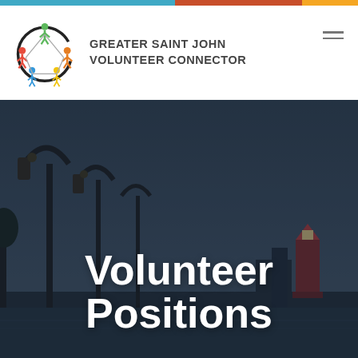[Figure (logo): Greater Saint John Volunteer Connector logo with colorful figures in a circle and organization name text]
[Figure (photo): Background hero image of Saint John cityscape at dusk showing vintage street lamps and a lighthouse with a dark overlay, with 'Volunteer Positions' text overlaid]